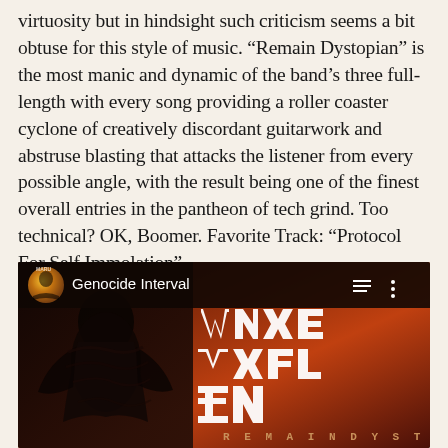virtuosity but in hindsight such criticism seems a bit obtuse for this style of music. “Remain Dystopian” is the most manic and dynamic of the band’s three full-length with every song providing a roller coaster cyclone of creatively discordant guitarwork and abstruse blasting that attacks the listener from every possible angle, with the result being one of the finest overall entries in the pantheon of tech grind. Too technical? OK, Boomer. Favorite Track: “Protocol For Self Immolation”
[Figure (screenshot): Music player screenshot showing 'Genocide Interval' track playing, with album art for 'Remain Dystopian' - dark red/brown album cover with jagged white band name lettering and a dark figure on the left side. Player UI shows hamburger menu and three-dot menu icons.]